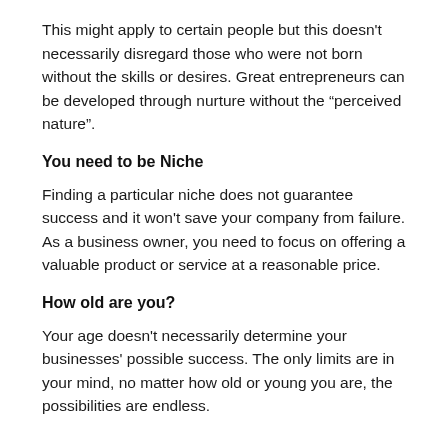This might apply to certain people but this doesn't necessarily disregard those who were not born without the skills or desires. Great entrepreneurs can be developed through nurture without the “perceived nature”.
You need to be Niche
Finding a particular niche does not guarantee success and it won't save your company from failure. As a business owner, you need to focus on offering a valuable product or service at a reasonable price.
How old are you?
Your age doesn't necessarily determine your businesses' possible success. The only limits are in your mind, no matter how old or young you are, the possibilities are endless.